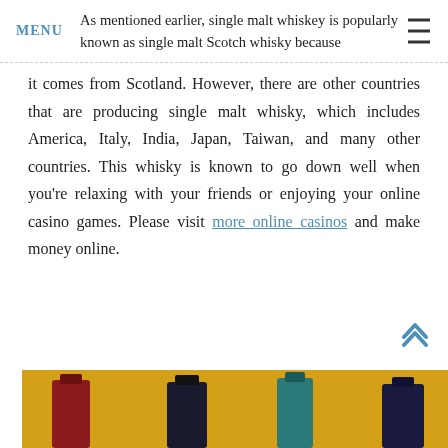MENU
As mentioned earlier, single malt whiskey is popularly known as single malt Scotch whisky because it comes from Scotland. However, there are other countries that are producing single malt whisky, which includes America, Italy, India, Japan, Taiwan, and many other countries. This whisky is known to go down well when you're relaxing with your friends or enjoying your online casino games. Please visit more online casinos and make money online.
[Figure (photo): Bottom portion of image showing several whisky bottles arranged on a yellow/golden background]